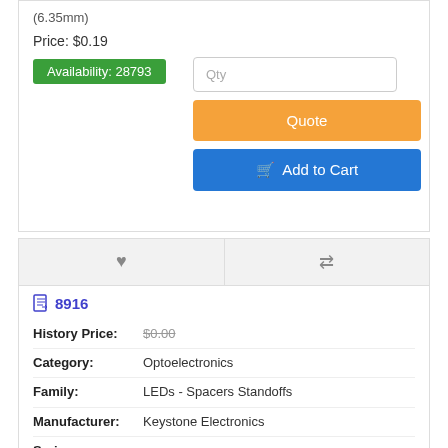(6.35mm)
Price: $0.19
Availability: 28793
Qty
Quote
Add to Cart
8916
History Price: $0.00
Category: Optoelectronics
Family: LEDs - Spacers Standoffs
Manufacturer: Keystone Electronics
Series: -